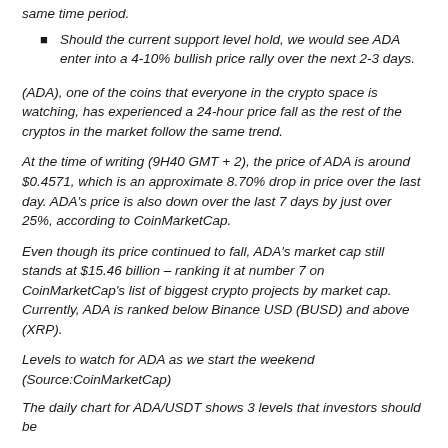same time period.
Should the current support level hold, we would see ADA enter into a 4-10% bullish price rally over the next 2-3 days.
(ADA), one of the coins that everyone in the crypto space is watching, has experienced a 24-hour price fall as the rest of the cryptos in the market follow the same trend.
At the time of writing (9H40 GMT + 2), the price of ADA is around $0.4571, which is an approximate 8.70% drop in price over the last day. ADA's price is also down over the last 7 days by just over 25%, according to CoinMarketCap.
Even though its price continued to fall, ADA's market cap still stands at $15.46 billion – ranking it at number 7 on CoinMarketCap's list of biggest crypto projects by market cap. Currently, ADA is ranked below Binance USD (BUSD) and above (XRP).
Levels to watch for ADA as we start the weekend (Source:CoinMarketCap)
The daily chart for ADA/USDT shows 3 levels that investors should be...